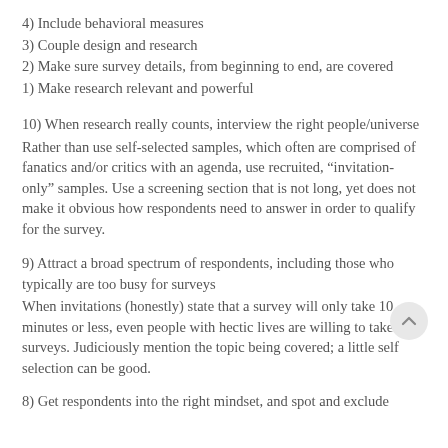4) Include behavioral measures
3) Couple design and research
2) Make sure survey details, from beginning to end, are covered
1) Make research relevant and powerful
10) When research really counts, interview the right people/universe
Rather than use self-selected samples, which often are comprised of fanatics and/or critics with an agenda, use recruited, “invitation-only” samples. Use a screening section that is not long, yet does not make it obvious how respondents need to answer in order to qualify for the survey.
9) Attract a broad spectrum of respondents, including those who typically are too busy for surveys
When invitations (honestly) state that a survey will only take 10 minutes or less, even people with hectic lives are willing to take surveys. Judiciously mention the topic being covered; a little self selection can be good.
8) Get respondents into the right mindset, and spot and exclude